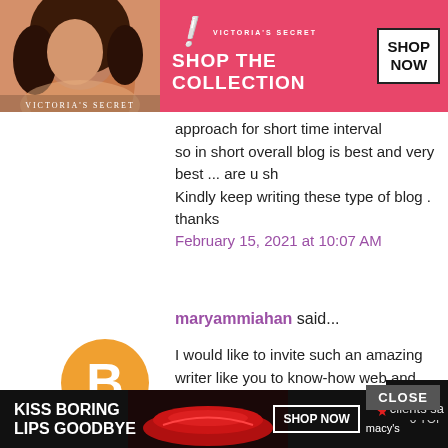[Figure (photo): Victoria's Secret advertisement banner with a model, pink background, 'SHOP THE COLLECTION' text, and 'SHOP NOW' button]
approach for short time interval
so in short overall blog is best and very best ... are u sha
Kindly keep writing these type of blog . thanks
February 15, 2021 at 10:07 AM
maryammiahan said...
[Figure (logo): Blogger avatar icon (orange circle with B)]
I would like to invite such an amazing writer like you to know-how web and mobile app development company industry.
April 28, 2021 at 12:25 AM
carry matheson said...
[Figure (photo): Macy's advertisement banner: 'KISS BORING LIPS GOODBYE', SHOP NOW button, Macy's star logo]
CLOSE